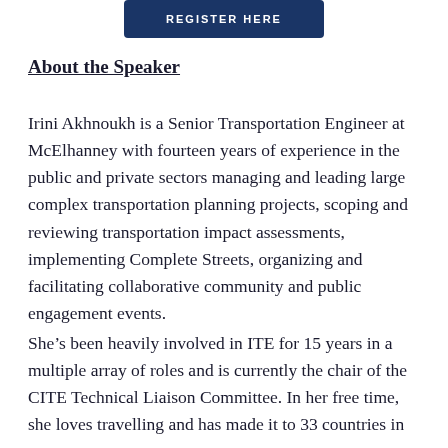[Figure (other): Dark blue button with text REGISTER HERE in white capital letters]
About the Speaker
Irini Akhnoukh is a Senior Transportation Engineer at McElhanney with fourteen years of experience in the public and private sectors managing and leading large complex transportation planning projects, scoping and reviewing transportation impact assessments, implementing Complete Streets, organizing and facilitating collaborative community and public engagement events.
She’s been heavily involved in ITE for 15 years in a multiple array of roles and is currently the chair of the CITE Technical Liaison Committee. In her free time, she loves travelling and has made it to 33 countries in